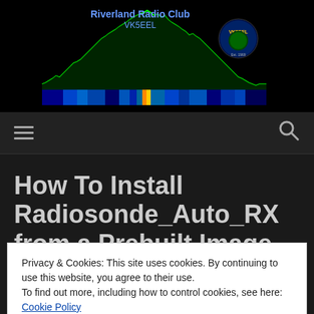[Figure (screenshot): Riverland Radio Club VK5EEL website header with spectrum analyzer display — green waveform on black background with colorful waterfall strip, club badge, club name and 'Est. 1969' text]
≡  🔍
How To Install Radiosonde_Auto_RX from a Prebuilt Image
Privacy & Cookies: This site uses cookies. By continuing to use this website, you agree to their use.
To find out more, including how to control cookies, see here: Cookie Policy
Close and accept